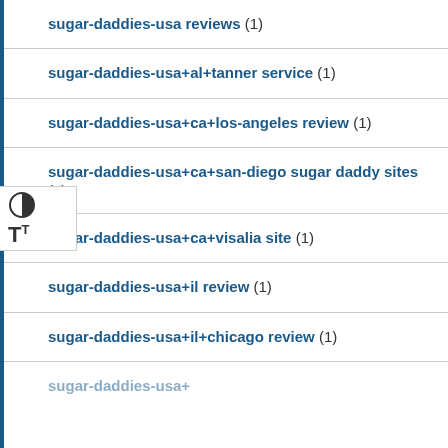sugar-daddies-usa reviews (1)
sugar-daddies-usa+al+tanner service (1)
sugar-daddies-usa+ca+los-angeles review (1)
sugar-daddies-usa+ca+san-diego sugar daddy sites (1)
sugar-daddies-usa+ca+visalia site (1)
sugar-daddies-usa+il review (1)
sugar-daddies-usa+il+chicago review (1)